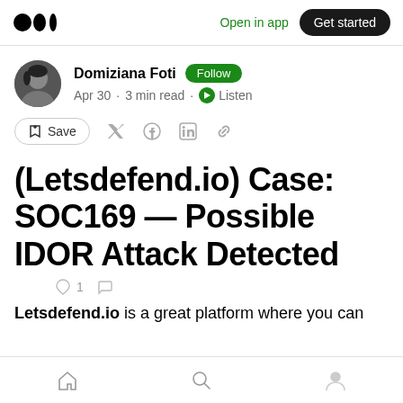Medium logo | Open in app | Get started
Domiziana Foti · Follow · Apr 30 · 3 min read · Listen
Save (social share icons)
(Letsdefend.io) Case: SOC169 — Possible IDOR Attack Detected
👏 1  💬
Letsdefend.io is a great platform where you can
Home | Search | Profile